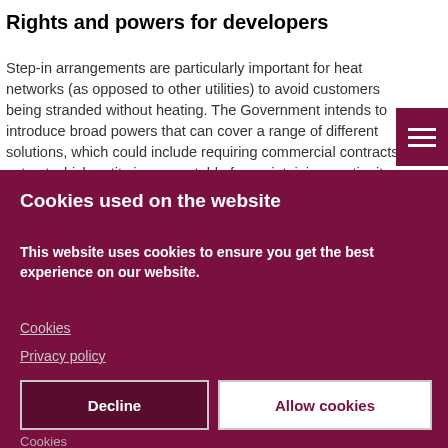Rights and powers for developers
Step-in arrangements are particularly important for heat networks (as opposed to other utilities) to avoid customers being stranded without heating. The Government intends to introduce broad powers that can cover a range of different solutions, which could include requiring commercial contracts to set out which entity is accountable for maintaining continuity
Cookies used on the website
This website uses cookies to ensure you get the best experience on our website.
Cookies
Privacy policy
Decline
Allow cookies
Cookies
Functional | Statistics and Marketing